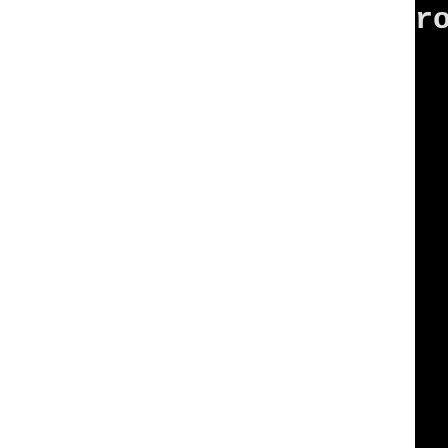rotector-strong --param=ssp-buffer-size=4 -Werror=trampolines -fPIC -march=x86-64 -mtune=generic -fno-debug-types-section -fvar-tracking-assignments -g2 -MT rawmidi.lo -MF .deps/rawmidi.Tpo -c -o rawmidi.lo ../../../src/rawmidi.c libtool: compile: x86_64-linux-gcc -DHAVE_CONFIG_H -I../../../src/rawmidi -I../../include -I../../../include -O2 -fwrapv -pipe -Wformat -Werror=format-security -gdwarf-4 -fno-debug-types-section -fvar-tracking-assignments -g2 -D_FORTIFY_SOURCE=2 -fstack-protector-strong --param=ssp-buffer-size=4 -Werror=trampolines -fPIC -march=x86-64 -mtune=generic -gdwarf-4 -fno-debug-types-section -fvar-tracking-assignments -g2 -MT rawmidi.lo -MF